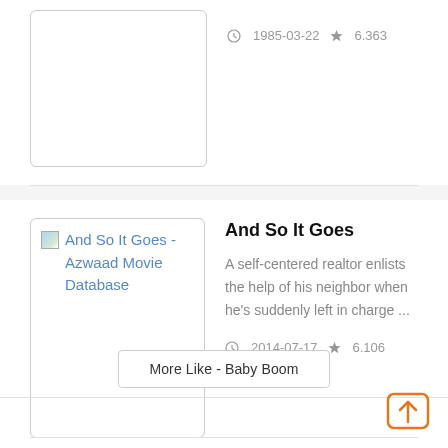[Figure (screenshot): Movie thumbnail placeholder for a film from 1985-03-22]
1985-03-22  6.363
[Figure (screenshot): Movie thumbnail placeholder with broken image icon labeled 'And So It Goes - Azwaad Movie Database']
And So It Goes
A self-centered realtor enlists the help of his neighbor when he's suddenly left in charge ...
2014-07-17  6.106
More Like - Baby Boom